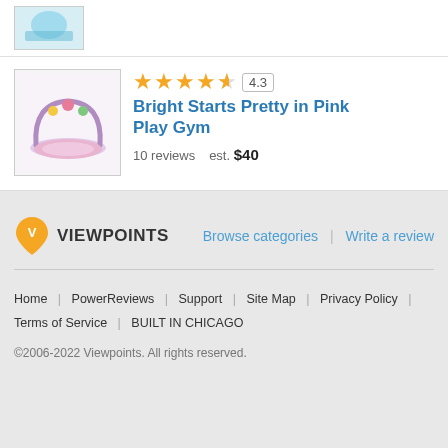[Figure (photo): Partial product thumbnail image visible at top (cropped)]
[Figure (photo): Bright Starts Pretty in Pink Play Gym product thumbnail image]
Bright Starts Pretty in Pink Play Gym
4.3 — 10 reviews   est. $40
[Figure (logo): Viewpoints logo with gold map pin icon and VIEWPOINTS text]
Browse categories | Write a review
Home | PowerReviews | Support | Site Map | Privacy Policy | Terms of Service | BUILT IN CHICAGO
©2006-2022 Viewpoints. All rights reserved.